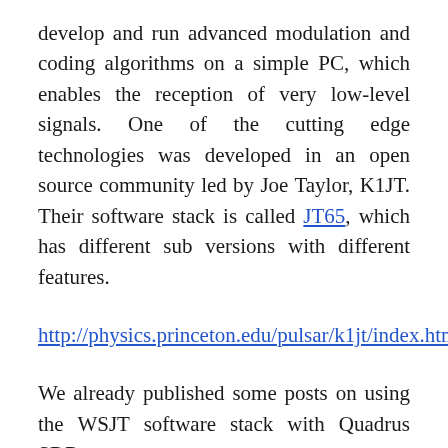develop and run advanced modulation and coding algorithms on a simple PC, which enables the reception of very low-level signals. One of the cutting edge technologies was developed in an open source community led by Joe Taylor, K1JT. Their software stack is called JT65, which has different sub versions with different features.
http://physics.princeton.edu/pulsar/k1jt/index.html
We already published some posts on using the WSJT software stack with Quadrus SDR:
http://spectrafold.hu/quadrus/radio-